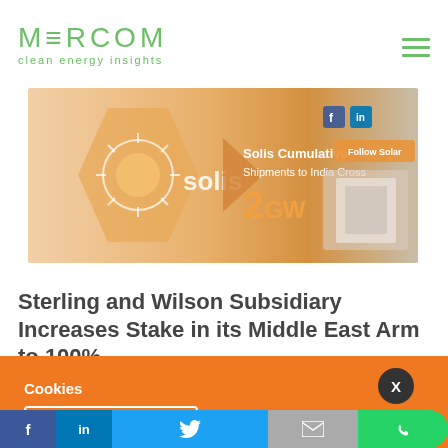MERCOM clean energy insights
[Figure (photo): Solis inverter advertisement banner: Solis Cumulative Shipments to India Cross 2GW, with social media icons and product image]
Sterling and Wilson Subsidiary Increases Stake in its Middle East Arm to 100%
Cookies
To make this site work properly, we sometimes place small data files called cookies on your device. Most big websites do this too.
[Figure (screenshot): Notification popup: Oriano Commissions 70 MW Captive Solar Project, 9 hours ago]
[Figure (infographic): Social share bar with Facebook, LinkedIn, Twitter, email, and WhatsApp buttons]